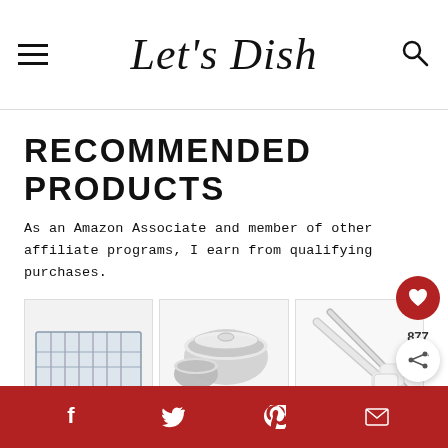Let's Dish
RECOMMENDED PRODUCTS
As an Amazon Associate and member of other affiliate programs, I earn from qualifying purchases.
[Figure (photo): Three product images: a Cuisinart dish rack, stainless steel mixing bowls, and a set of white-handled knives]
Social share bar with Facebook, Twitter, Pinterest, and email icons